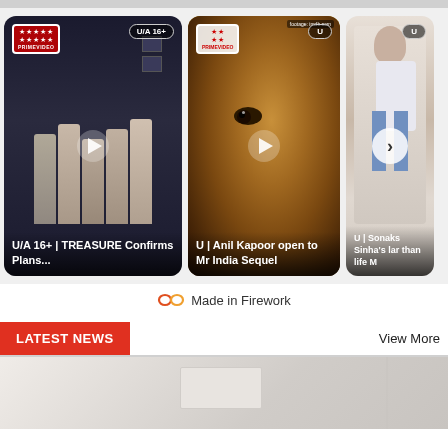[Figure (other): Video carousel with three video thumbnail cards. Card 1: K-pop group TREASURE in white outfits against dark background, rating badge U/A 16+, caption 'U/A 16+ | TREASURE Confirms Plans...'. Card 2: Close-up of Anil Kapoor's face, rating U, caption 'U | Anil Kapoor open to Mr India Sequel'. Card 3: Woman posing in casual clothing, rating U, caption 'U | Sonakshi Sinha's larger than life M...' with next arrow button.]
Made in Firework
LATEST NEWS
View More
[Figure (photo): Partial view of a room interior with white walls and ceiling, showing what appears to be a bathroom or minimalist room.]